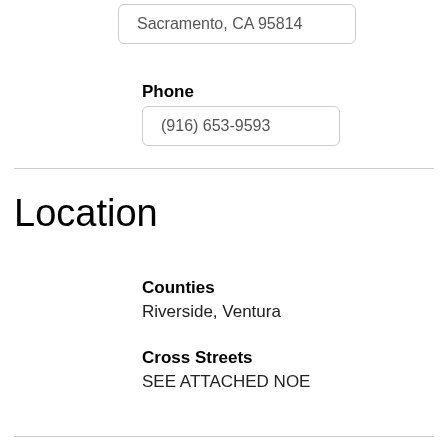Sacramento, CA 95814
Phone
(916) 653-9593
Location
Counties
Riverside, Ventura
Cross Streets
SEE ATTACHED NOE